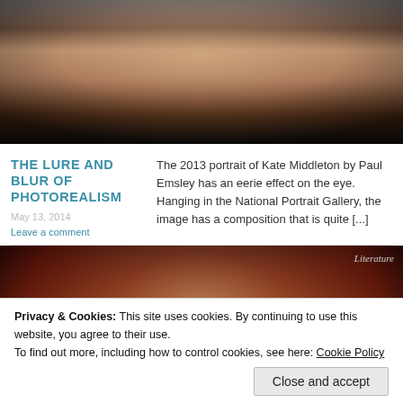[Figure (photo): Close-up photo of a woman's face with dark background, appearing blurred/soft focus - appears to be Kate Middleton portrait]
THE LURE AND BLUR OF PHOTOREALISM
May 13, 2014
Leave a comment
The 2013 portrait of Kate Middleton by Paul Emsley has an eerie effect on the eye. Hanging in the National Portrait Gallery, the image has a composition that is quite [...]
[Figure (photo): Classical portrait painting of a woman in a bonnet with lace trim, dark brown background - appears to be Jane Austen or similar Regency-era figure. Has 'Literature' badge in top right corner.]
Privacy & Cookies: This site uses cookies. By continuing to use this website, you agree to their use.
To find out more, including how to control cookies, see here: Cookie Policy
Close and accept
May 1, 2014
six novels for a modern audience, opinion has been